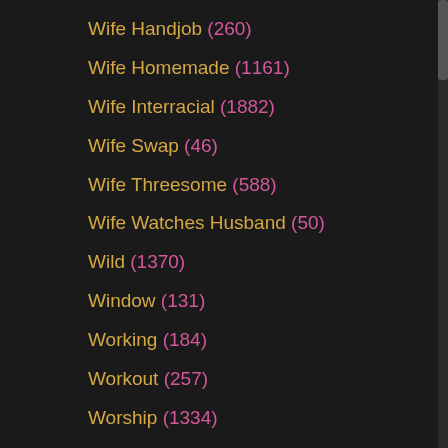Wife Handjob (260)
Wife Homemade (1161)
Wife Interracial (1882)
Wife Swap (46)
Wife Threesome (588)
Wife Watches Husband (50)
Wild (1370)
Window (131)
Working (184)
Workout (257)
Worship (1334)
Wrestling (200)
Yacht (14)
Yoga (651)
Yoga Pants (106)
Young (11717)